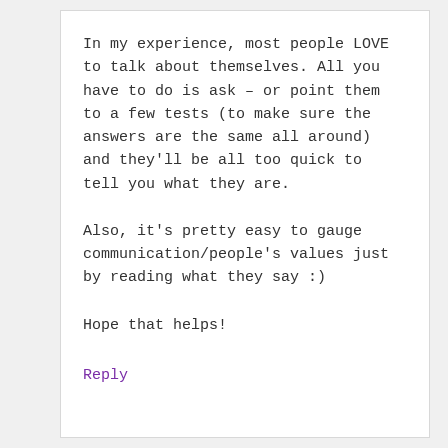In my experience, most people LOVE to talk about themselves. All you have to do is ask – or point them to a few tests (to make sure the answers are the same all around) and they'll be all too quick to tell you what they are.
Also, it's pretty easy to gauge communication/people's values just by reading what they say :)
Hope that helps!
Reply